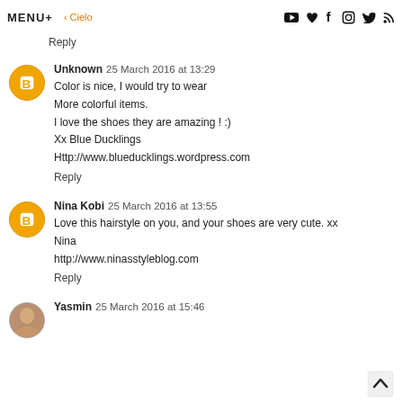MENU+ · Cielo · Mermaid in Heels
Reply
Unknown  25 March 2016 at 13:29
Color is nice, I would try to wear
More colorful items.
I love the shoes they are amazing ! :)
Xx Blue Ducklings
Http://www.blueducklings.wordpress.com
Reply
Nina Kobi  25 March 2016 at 13:55
Love this hairstyle on you, and your shoes are very cute. xx
Nina
http://www.ninasstyleblog.com
Reply
Yasmin  25 March 2016 at 15:46